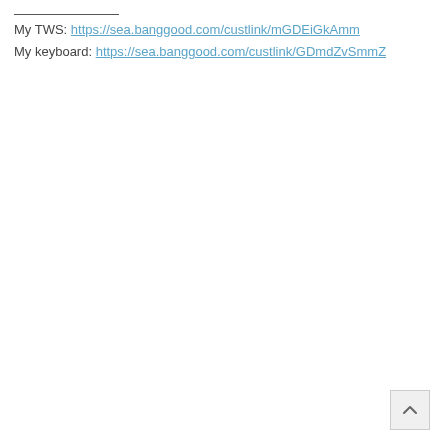My TWS: https://sea.banggood.com/custlink/mGDEiGkAmm
My keyboard: https://sea.banggood.com/custlink/GDmdZvSmmZ